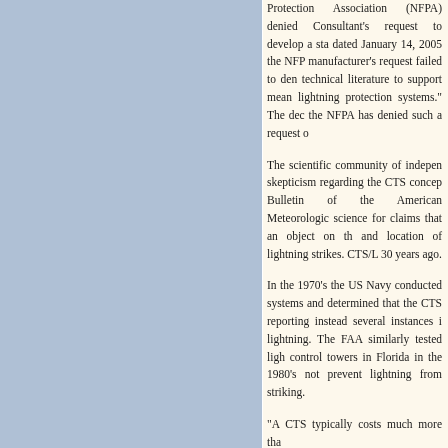Protection Association (NFPA) denied Consultant's request to develop a standard dated January 14, 2005 the NFPA manufacturer's request failed to demonstrate technical literature to support meaning lightning protection systems." The decision the NFPA has denied such a request o
The scientific community of independent skepticism regarding the CTS concept. Bulletin of the American Meteorological science for claims that an object on the and location of lightning strikes. CTS/L 30 years ago.
In the 1970's the US Navy conducted systems and determined that the CTS reporting instead several instances i lightning. The FAA similarly tested lig control towers in Florida in the 1980's not prevent lightning from striking.
"A CTS typically costs much more tha